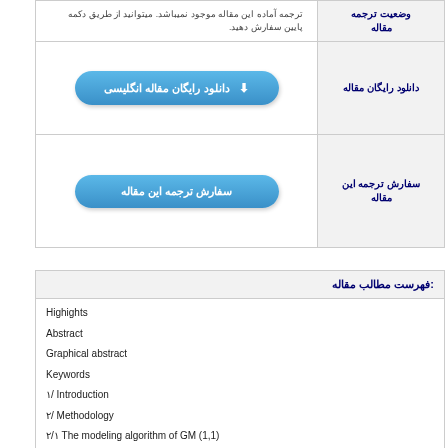| وضعیت ترجمه مقاله |  |
| --- | --- |
| وضعیت ترجمه مقاله | ترجمه آماده این مقاله موجود نمیباشد. میتوانید از طریق دکمه پایین سفارش دهید. |
| دانلود رایگان مقاله | دانلود رایگان مقاله انگلیسی ⬇ |
| سفارش ترجمه این مقاله | سفارش ترجمه این مقاله |
| فهرست مطالب مقاله: |
| --- |
| Highights |
| Abstract |
| Graphical abstract |
| Keywords |
| ۱/ Introduction |
| ۲/ Methodology |
| ۲/۱ The modeling algorithm of GM (1,1) |